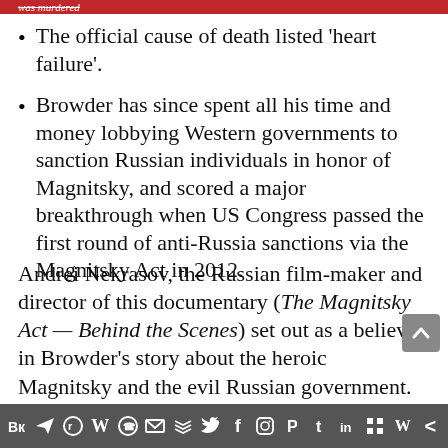The official cause of death listed 'heart failure'.
Browder has since spent all his time and money lobbying Western governments to sanction Russian individuals in honor of Magnitsky, and scored a major breakthrough when US Congress passed the first round of anti-Russia sanctions via the Magnitsky Act in 2012.
Andrei Nekrasov, the Russian film-maker and director of this documentary (The Magnitsky Act — Behind the Scenes) set out as a believer in Browder's story about the heroic Magnitsky and the evil Russian government. In the course of
Social media sharing icons: VK, Telegram, Reddit, WordPress, WhatsApp, Email, Layers, Twitter, Facebook, Instagram, Pinterest, Tumblr, LinkedIn, Share, Wattpad, More